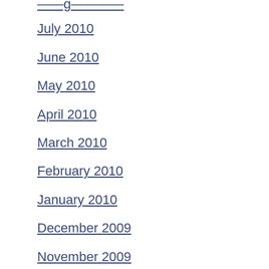July 2010
June 2010
May 2010
April 2010
March 2010
February 2010
January 2010
December 2009
November 2009
October 2009
September 2009
August 2009
July 2009
June 2009